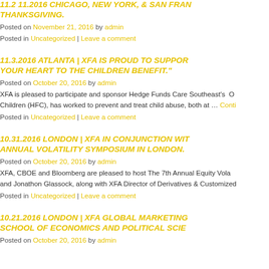11.2 11.2016 CHICAGO, NEW YORK, & SAN FRANCISCO FOR THANKSGIVING.
Posted on November 21, 2016 by admin
Posted in Uncategorized | Leave a comment
11.3.2016 ATLANTA | XFA IS PROUD TO SUPPORT "GIVE YOUR HEART TO THE CHILDREN BENEFIT."
Posted on October 20, 2016 by admin
XFA is pleased to participate and sponsor Hedge Funds Care Southeast's O Children (HFC), has worked to prevent and treat child abuse, both at … Conti
Posted in Uncategorized | Leave a comment
10.31.2016 LONDON | XFA IN CONJUNCTION WITH ANNUAL VOLATILITY SYMPOSIUM IN LONDON.
Posted on October 20, 2016 by admin
XFA, CBOE and Bloomberg are pleased to host The 7th Annual Equity Vola and Jonathon Glassock, along with XFA Director of Derivatives & Customized
Posted in Uncategorized | Leave a comment
10.21.2016 LONDON | XFA GLOBAL MARKETING SCHOOL OF ECONOMICS AND POLITICAL SCIE
Posted on October 20, 2016 by admin